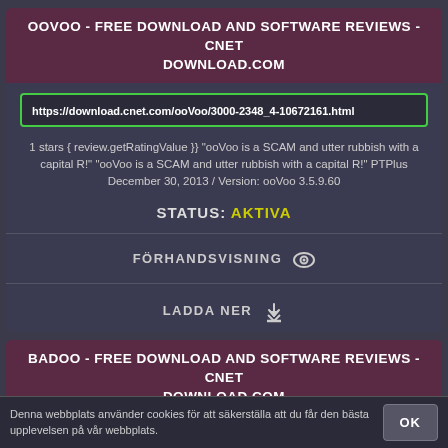OOVOO - FREE DOWNLOAD AND SOFTWARE REVIEWS - CNET DOWNLOAD.COM
https://download.cnet.com/ooVoo/3000-2348_4-10672161.html
1 stars { review.getRatingValue }} "ooVoo is a SCAM and utter rubbish with a capital R!" "ooVoo is a SCAM and utter rubbish with a capital R!" PTPlus December 30, 2013 / Version: ooVoo 3.5.9.60
STATUS: AKTIVA
FÖRHANDSVISNING 👁
LADDA NER ⬇
BADOO - FREE DOWNLOAD AND SOFTWARE REVIEWS - CNET DOWNLOAD.COM
Denna webbplats använder cookies för att säkerställa att du får den bästa upplevelsen på vår webbplats.
OK